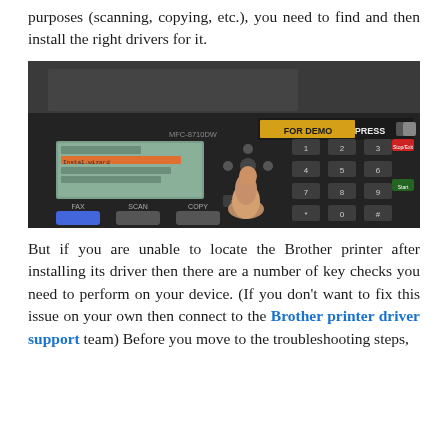purposes (scanning, copying, etc.), you need to find and then install the right drivers for it.
[Figure (photo): A hand pressing a button on a Brother MFC-8710DW multifunction printer/fax machine control panel, showing LCD display and keypad]
But if you are unable to locate the Brother printer after installing its driver then there are a number of key checks you need to perform on your device. (If you don't want to fix this issue on your own then connect to the Brother printer driver support team) Before you move to the troubleshooting steps,